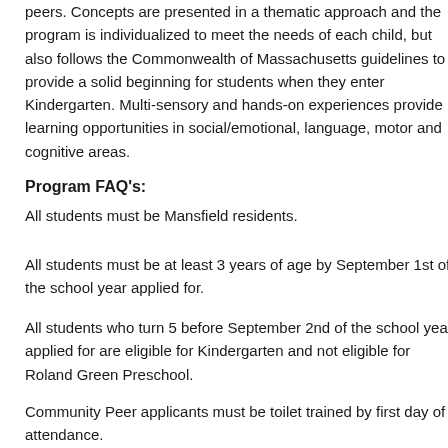peers. Concepts are presented in a thematic approach and the program is individualized to meet the needs of each child, but also follows the Commonwealth of Massachusetts guidelines to provide a solid beginning for students when they enter Kindergarten. Multi-sensory and hands-on experiences provide learning opportunities in social/emotional, language, motor and cognitive areas.
Program FAQ's:
All students must be Mansfield residents.
All students must be at least 3 years of age by September 1st of the school year applied for.
All students who turn 5 before September 2nd of the school year applied for are eligible for Kindergarten and not eligible for Roland Green Preschool.
Community Peer applicants must be toilet trained by first day of attendance.